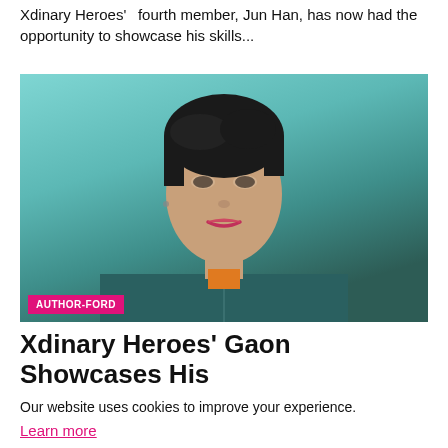Xdinary Heroes' fourth member, Jun Han, has now had the opportunity to showcase his skills...
[Figure (photo): Portrait photo of Xdinary Heroes' member Gaon, wearing a teal/dark jacket with an orange undershirt, against a teal background. Label 'AUTHOR-FORD' appears in pink at the bottom left.]
Xdinary Heroes' Gaon Showcases His
Our website uses cookies to improve your experience.
Learn more
Accept !